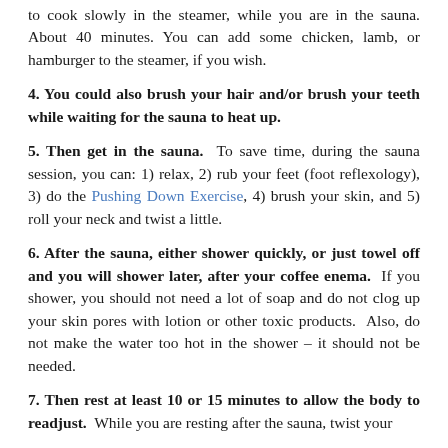to cook slowly in the steamer, while you are in the sauna. About 40 minutes. You can add some chicken, lamb, or hamburger to the steamer, if you wish.
4. You could also brush your hair and/or brush your teeth while waiting for the sauna to heat up.
5. Then get in the sauna. To save time, during the sauna session, you can: 1) relax, 2) rub your feet (foot reflexology), 3) do the Pushing Down Exercise, 4) brush your skin, and 5) roll your neck and twist a little.
6. After the sauna, either shower quickly, or just towel off and you will shower later, after your coffee enema. If you shower, you should not need a lot of soap and do not clog up your skin pores with lotion or other toxic products. Also, do not make the water too hot in the shower – it should not be needed.
7. Then rest at least 10 or 15 minutes to allow the body to readjust. While you are resting after the sauna, twist your